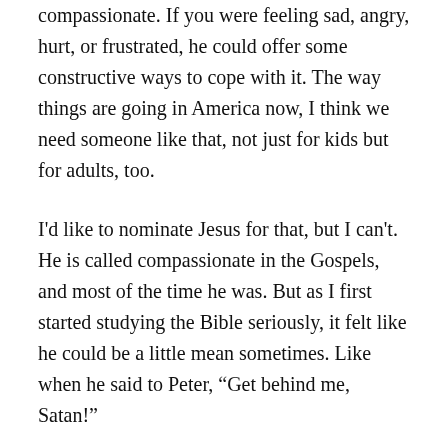compassionate. If you were feeling sad, angry, hurt, or frustrated, he could offer some constructive ways to cope with it. The way things are going in America now, I think we need someone like that, not just for kids but for adults, too.
I'd like to nominate Jesus for that, but I can't. He is called compassionate in the Gospels, and most of the time he was. But as I first started studying the Bible seriously, it felt like he could be a little mean sometimes. Like when he said to Peter, “Get behind me, Satan!”
Did he just call Peter the devil? If Peter needed to be reprimanded, Mister Rogers would have found a more tactful way to do it. I remember the first time I read it...